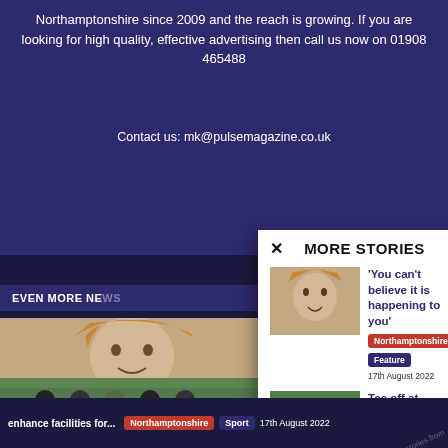Northamptonshire since 2009 and the reach is growing. If you are looking for high quality, effective advertising then call us now on 01908 465488
Contact us: mk@pulsemagazine.co.uk
EVEN MORE NE...
[Figure (photo): Close-up photo of a young child's face with reddish-blond hair]
[Figure (photo): Group of young men at a golf charity event]
MORE STORIES
'You can't believe it is happening to you'
Northamptonshire  Feature
17th August 2022
Tee off at Charity Golf Day and help enhance facilities for...
Northamptonshire  Sport
17th August 2022
enhance facilities for...
Northamptonshire  Sport  17th August 2022